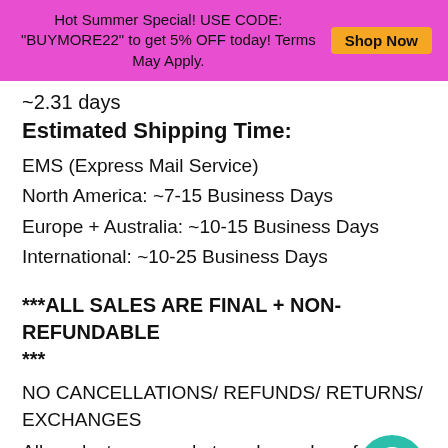Hot Summer Special! USE CODE: "BUYMORE22" to get 5% OFF today! Terms May Apply. Shop Now
~2.31 days
Estimated Shipping Time:
EMS (Express Mail Service)
North America: ~7-15 Business Days
Europe + Australia: ~10-15 Business Days
International: ~10-25 Business Days
***ALL SALES ARE FINAL + NON-REFUNDABLE ***
NO CANCELLATIONS/ REFUNDS/ RETURNS/ EXCHANGES
All products are made to order and are filed to be delivered automatically.